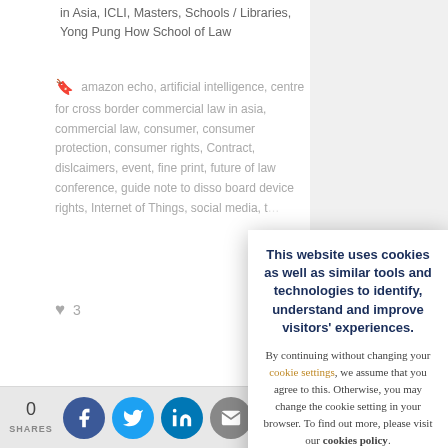in Asia, ICLI, Masters, Schools / Libraries, Yong Pung How School of Law
amazon echo, artificial intelligence, centre for cross border commercial law in asia, commercial law, consumer, consumer protection, consumer rights, Contract, dislcaimers, event, fine print, future of law conference, guide note to disso board device rights, Internet of Things, social media, t...
♥ 3
◄ TEN TOP S
SEEING T
This website uses cookies as well as similar tools and technologies to identify, understand and improve visitors' experiences. By continuing without changing your cookie settings, we assume that you agree to this. Otherwise, you may change the cookie setting in your browser. To find out more, please visit our cookies policy.
CLOSE
0 SHARES
[Figure (infographic): Social share bar with Facebook, Twitter, LinkedIn, Email, Link, and Plus buttons]